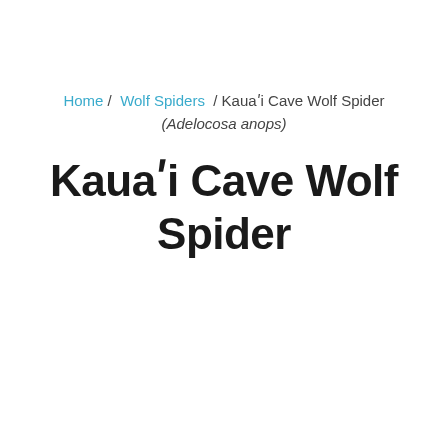Home / Wolf Spiders / Kauaʹi Cave Wolf Spider (Adelocosa anops)
Kauaʹi Cave Wolf Spider